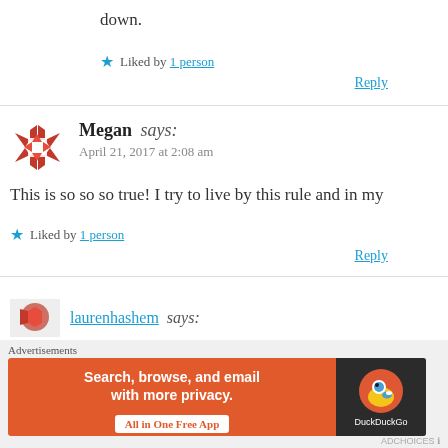down.
★ Liked by 1 person
Reply
Megan says:
April 21, 2017 at 2:08 am
This is so so so true! I try to live by this rule and in my
★ Liked by 1 person
Reply
laurenhashem says:
Advertisements
Search, browse, and email with more privacy. All in One Free App
DuckDuckGo